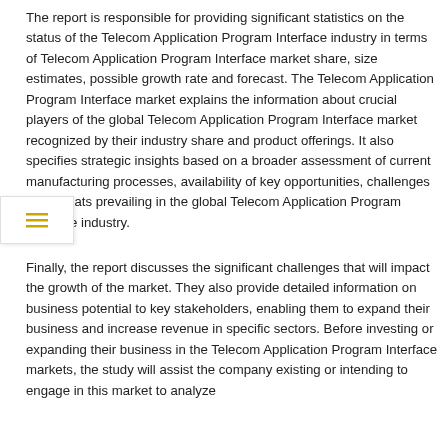The report is responsible for providing significant statistics on the status of the Telecom Application Program Interface industry in terms of Telecom Application Program Interface market share, size estimates, possible growth rate and forecast. The Telecom Application Program Interface market explains the information about crucial players of the global Telecom Application Program Interface market recognized by their industry share and product offerings. It also specifies strategic insights based on a broader assessment of current manufacturing processes, availability of key opportunities, challenges and threats prevailing in the global Telecom Application Program Interface industry.
Finally, the report discusses the significant challenges that will impact the growth of the market. They also provide detailed information on business potential to key stakeholders, enabling them to expand their business and increase revenue in specific sectors. Before investing or expanding their business in the Telecom Application Program Interface markets, the study will assist the company existing or intending to engage in this market to analyze